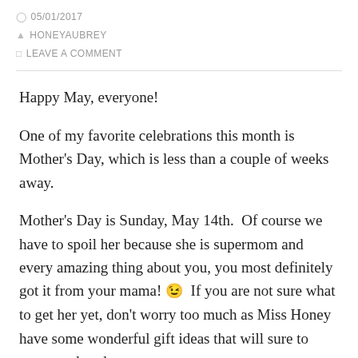05/01/2017 HONEYAUBREY LEAVE A COMMENT
Happy May, everyone!
One of my favorite celebrations this month is Mother's Day, which is less than a couple of weeks away.
Mother's Day is Sunday, May 14th.  Of course we have to spoil her because she is supermom and every amazing thing about you, you most definitely got it from your mama! 😉  If you are not sure what to get her yet, don't worry too much as Miss Honey have some wonderful gift ideas that will sure to wow mother dearest.